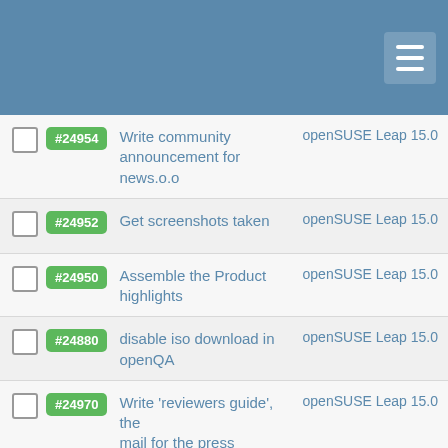[Figure (screenshot): Blue header bar with hamburger menu icon on the right]
#24954 Write community announcement for news.o.o — openSUSE Leap 15.0
#24952 Get screenshots taken — openSUSE Leap 15.0
#24950 Assemble the Product highlights — openSUSE Leap 15.0
#24880 disable iso download in openQA — openSUSE Leap 15.0
#24970 Write 'reviewers guide', the mail for the press — openSUSE Leap 15.0
#24964 Get quotes from important people — openSUSE Leap 15.0
#24920 Adapt http://mirrors.opensuse.org — openSUSE Leap 15.0